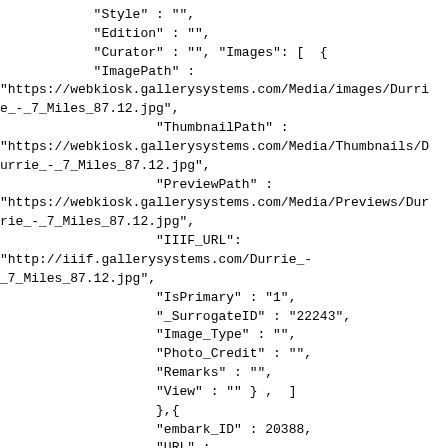"Style" : "",
            "Edition" : "",
            "Curator" : "", "Images": [  {
            "ImagePath" :
"https://webkiosk.gallerysystems.com/Media/images/Durri
e_-_7_Miles_87.12.jpg",
                    "ThumbnailPath" :
"https://webkiosk.gallerysystems.com/Media/Thumbnails/D
urrie_-_7_Miles_87.12.jpg",
                    "PreviewPath" :
"https://webkiosk.gallerysystems.com/Media/Previews/Dur
rie_-_7_Miles_87.12.jpg",
                    "IIIF_URL":
"http://iiif.gallerysystems.com/Durrie_-
_7_Miles_87.12.jpg",
                    "IsPrimary" : "1",
                    "_SurrogateID" : "22243",
                    "Image_Type" : "",
                    "Photo_Credit" : "",
                    "Remarks" : "",
                    "View" : "" } ,  ]
                    },{{
                    "embark_ID" : 20388,
                    "URL" :
"https://webkiosk.gallerysystems.com/Objects-
1/info/20388",
                    "Disp_Access_No" : "2002.1.51",
                    "_AccNumSort1" : "",
                    "Disp_Create_DT" : "1862",
                    "_Disp_Start_Dat" : "1862"